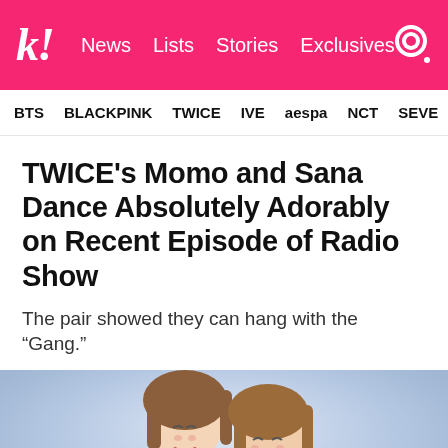k! News Lists Stories Exclusives
BTS BLACKPINK TWICE IVE aespa NCT SEVE
TWICE's Momo and Sana Dance Absolutely Adorably on Recent Episode of Radio Show
The pair showed they can hang with the “Gang.”
[Figure (photo): Two young women with brown hair posing closely together, both smiling with eyes closed, wearing light-colored tops against a blurred blue/gray background.]